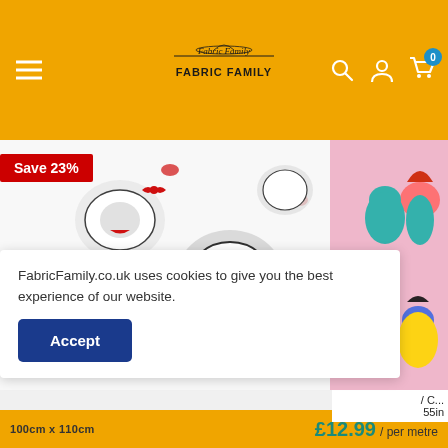FABRIC FAMILY
[Figure (screenshot): Mickey and Minnie Mouse fabric pattern — black and white cartoon characters with red accents on white background, with a red 'Save 23%' badge in the top left corner]
[Figure (photo): Disney Princess fabric — pink background with colorful Disney princess characters including Ariel, Belle, and others]
FabricFamily.co.uk uses cookies to give you the best experience of our website.
Accept
100cm x 110cm
/ C... 55in
£12.99 / per metre